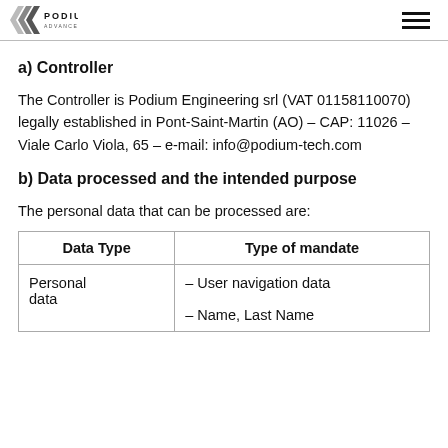PODIUM ADVANCED TECHNOLOGIES
a) Controller
The Controller is Podium Engineering srl (VAT 01158110070) legally established in Pont-Saint-Martin (AO) – CAP: 11026 – Viale Carlo Viola, 65 – e-mail: info@podium-tech.com
b) Data processed and the intended purpose
The personal data that can be processed are:
| Data Type | Type of mandate |
| --- | --- |
| Personal data | – User navigation data

– Name, Last Name |